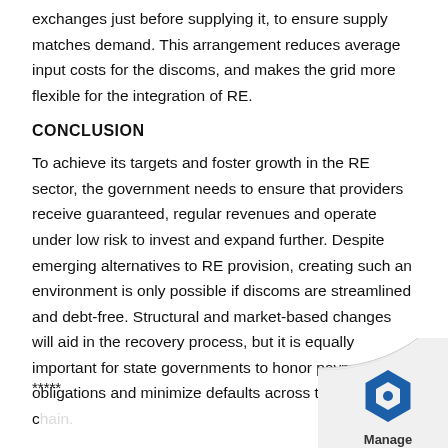exchanges just before supplying it, to ensure supply matches demand. This arrangement reduces average input costs for the discoms, and makes the grid more flexible for the integration of RE.
CONCLUSION
To achieve its targets and foster growth in the RE sector, the government needs to ensure that providers receive guaranteed, regular revenues and operate under low risk to invest and expand further. Despite emerging alternatives to RE provision, creating such an environment is only possible if discoms are streamlined and debt-free. Structural and market-based changes will aid in the recovery process, but it is equally important for state governments to honor payment obligations and minimize defaults across the supply chain.
*****
[Figure (logo): Page curl effect in bottom-right corner with a blue hexagonal logo and the word 'Manage' below it]